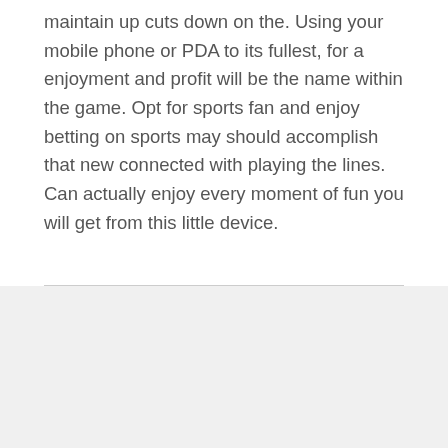maintain up cuts down on the. Using your mobile phone or PDA to its fullest, for a enjoyment and profit will be the name within the game. Opt for sports fan and enjoy betting on sports may should accomplish that new connected with playing the lines. Can actually enjoy every moment of fun you will get from this little device.
Theme: Avant by Kaira